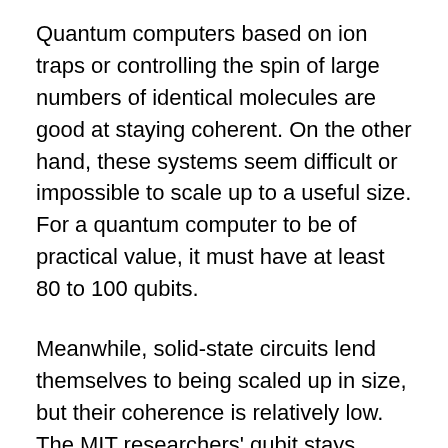Quantum computers based on ion traps or controlling the spin of large numbers of identical molecules are good at staying coherent. On the other hand, these systems seem difficult or impossible to scale up to a useful size. For a quantum computer to be of practical value, it must have at least 80 to 100 qubits.
Meanwhile, solid-state circuits lend themselves to being scaled up in size, but their coherence is relatively low. The MIT researchers' qubit stays coherent for much longer than similar work along these lines.
"What is important about the proposed superconducting qubit is that it uses the technology of integrated circuits, so that it has the potential to